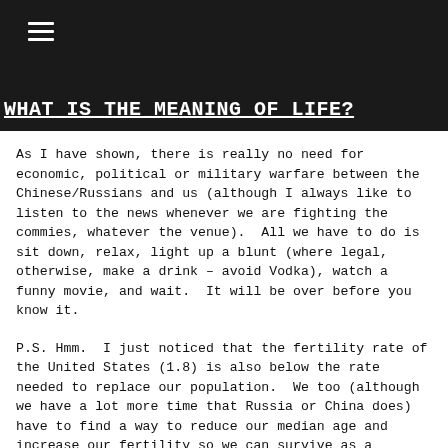≡
WHAT IS THE MEANING OF LIFE?
As I have shown, there is really no need for economic, political or military warfare between the Chinese/Russians and us (although I always like to listen to the news whenever we are fighting the commies, whatever the venue).  All we have to do is sit down, relax, light up a blunt (where legal, otherwise, make a drink – avoid Vodka), watch a funny movie, and wait.  It will be over before you know it.
P.S. Hmm.  I just noticed that the fertility rate of the United States (1.8) is also below the rate needed to replace our population.  We too (although we have a lot more time that Russia or China does) have to find a way to reduce our median age and increase our fertility so we can survive as a society.  Hmmm again, maybe we should let in some of those young and fertile barbarians at our gates!  We'll have darker skin, different looking eyes, funnier hair and stranger religions, but at least we'll still be here!